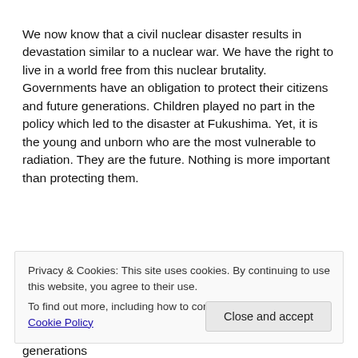We now know that a civil nuclear disaster results in devastation similar to a nuclear war. We have the right to live in a world free from this nuclear brutality. Governments have an obligation to protect their citizens and future generations. Children played no part in the policy which led to the disaster at Fukushima. Yet, it is the young and unborn who are the most vulnerable to radiation. They are the future. Nothing is more important than protecting them.
Privacy & Cookies: This site uses cookies. By continuing to use this website, you agree to their use. To find out more, including how to control cookies, see here: Cookie Policy